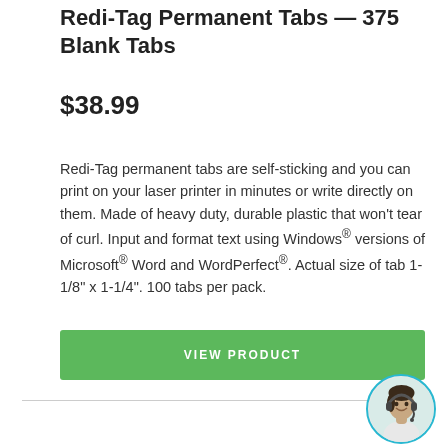Redi-Tag Permanent Tabs — 375 Blank Tabs
$38.99
Redi-Tag permanent tabs are self-sticking and you can print on your laser printer in minutes or write directly on them. Made of heavy duty, durable plastic that won't tear of curl. Input and format text using Windows® versions of Microsoft® Word and WordPerfect®. Actual size of tab 1-1/8" x 1-1/4". 100 tabs per pack.
VIEW PRODUCT
[Figure (photo): Customer service representative avatar in a circular frame with teal border]